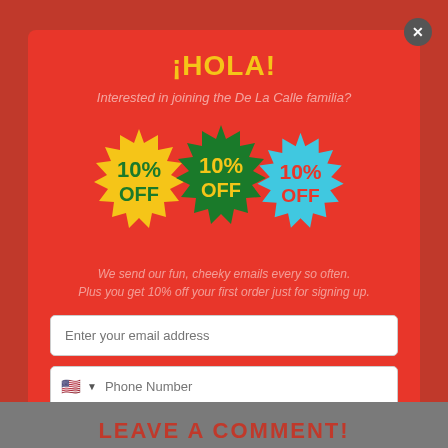¡HOLA!
Interested in joining the De La Calle familia?
[Figure (illustration): Three starburst/badge shapes with '10% OFF' text — one yellow/green, one green, one blue/cyan — overlapping each other]
We send our fun, cheeky emails every so often.
Plus you get 10% off your first order just for signing up.
Enter your email address
Phone Number
Yes, please!
By completing this form you are signing up to receive our emails and can unsubscribe at any time.
LEAVE A COMMENT!